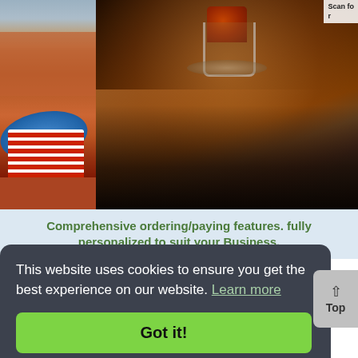[Figure (photo): Two photos side by side: left shows a rooftop terrace with a city view, striped chair and blue round table; right shows a glass of drink on a dark wooden bar table with warm lighting and shadows.]
Scan fo
Comprehensive ordering/paying features. fully personalized to suit your Business.
This website uses cookies to ensure you get the best experience on our website. Learn more
Got it!